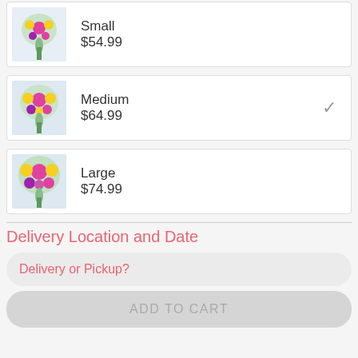Small $54.99
Medium $64.99
Large $74.99
Delivery Location and Date
Delivery or Pickup?
ADD TO CART